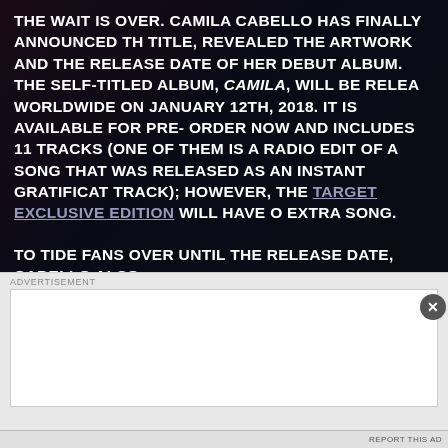THE WAIT IS OVER. CAMILA CABELLO HAS FINALLY ANNOUNCED THE TITLE, REVEALED THE ARTWORK AND THE RELEASE DATE OF HER DEBUT ALBUM. THE SELF-TITLED ALBUM, CAMILA, WILL BE RELEASED WORLDWIDE ON JANUARY 12TH, 2018. IT IS AVAILABLE FOR PRE-ORDER NOW AND INCLUDES 11 TRACKS (ONE OF THEM IS A RADIO EDIT OF A SONG THAT WAS RELEASED AS AN INSTANT GRATIFICATION TRACK); HOWEVER, THE TARGET EXCLUSIVE EDITION WILL HAVE ONE EXTRA SONG.
TO TIDE FANS OVER UNTIL THE RELEASE DATE, CABELLO ALSO DROPPED TWO NEW TRACKS FROM THE ALBUM. "REAL FRIEND...
[Figure (other): Advertisement overlay with close button (X) and gray ad placeholder box]